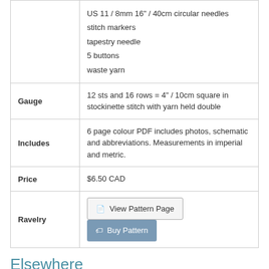|  |  |
| --- | --- |
|  | US 11 / 8mm 16" / 40cm circular needles
stitch markers
tapestry needle
5 buttons
waste yarn |
| Gauge | 12 sts and 16 rows = 4" / 10cm square in stockinette stitch with yarn held double |
| Includes | 6 page colour PDF includes photos, schematic and abbreviations. Measurements in imperial and metric. |
| Price | $6.50 CAD |
| Ravelry | [View Pattern Page] [Buy Pattern] |
Elsewhere
[Figure (infographic): Social media icons: Ravelry (r), Twitter bird, Pinterest (p), Flickr (double circles), Instagram (camera)]
Featured Pattern